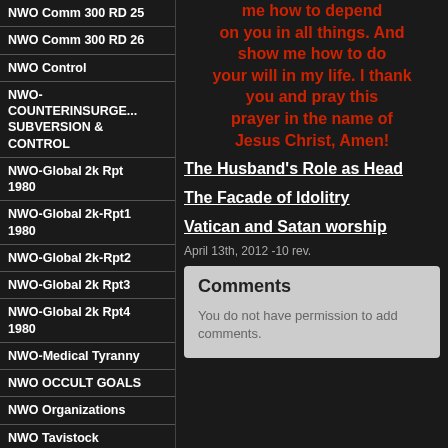NWO Comm 300 RD 25
NWO Comm 300 RD 26
NWO Control
NWO-COUNTERINSURGE... SUBVERSION & CONTROL
NWO-Global 2k Rpt 1980
NWO-Global 2k-Rpt1 1980
NWO-Global 2k-Rpt2
NWO-Global 2k Rpt3
NWO-Global 2k Rpt4 1980
NWO-Medical Tyranny
NWO OCCULT GOALS
NWO Organizations
NWO Tavistock Document
NWO Tavistock Doc 2
NWO Tavistock Doc 3
NWO Tavistock Doc 4
NWO Tavistock Doc 5
me how to depend on you in all things. And show me how to do your will in my life. I thank you and pray this prayer in the name of Jesus Christ, Amen!
The Husband's Role as Head
The Facade of Idolitry
Vatican and Satan worship
April 13th, 2012 -10 rev.
Comments
You do not have permission to add comments.